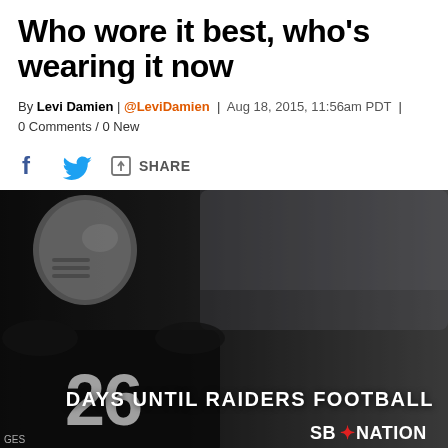Who wore it best, who's wearing it now
By Levi Damien | @LeviDamien | Aug 18, 2015, 11:56am PDT | 0 Comments / 0 New
[Figure (photo): Raiders football player wearing jersey number 26 with silver helmet, overlaid with text 'DAYS UNTIL RAIDERS FOOTBALL' and SB Nation logo]
DAYS UNTIL RAIDERS FOOTBALL